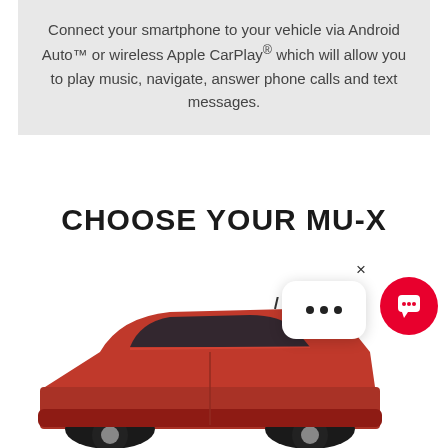Connect your smartphone to your vehicle via Android Auto™ or wireless Apple CarPlay® which will allow you to play music, navigate, answer phone calls and text messages.
CHOOSE YOUR MU-X
[Figure (photo): Partial view of a red Isuzu MU-X SUV showing the rear and side, with UI overlay elements: a close (×) button, a white rounded chat popup showing three dots (…), and a red circular chat icon button.]